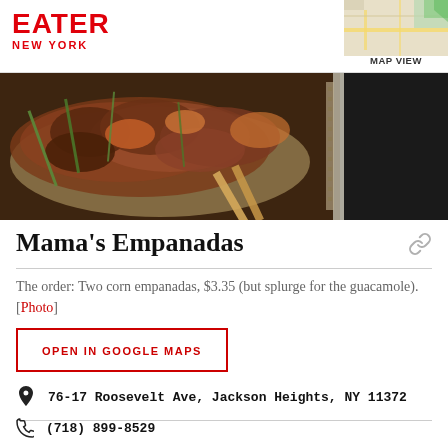EATER NEW YORK | MAP VIEW
[Figure (photo): Food photo showing a takeout container with rice, meat, and vegetables topped with green onions, with chopsticks resting on the side]
Mama's Empanadas
The order: Two corn empanadas, $3.35 (but splurge for the guacamole). [Photo]
OPEN IN GOOGLE MAPS
76-17 Roosevelt Ave, Jackson Heights, NY 11372
(718) 899-8529